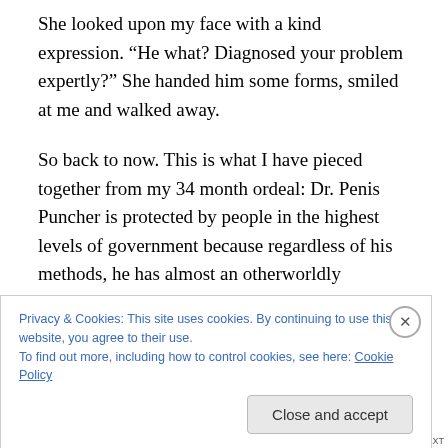She looked upon my face with a kind expression. “He what? Diagnosed your problem expertly?” She handed him some forms, smiled at me and walked away.
So back to now. This is what I have pieced together from my 34 month ordeal: Dr. Penis Puncher is protected by people in the highest levels of government because regardless of his methods, he has almost an otherworldly knowledge of urology.
Frequently, whenever a case is considered a ‘lost cause,’ they will refer the suffering party to Dr. Penis Puncher for a
Privacy & Cookies: This site uses cookies. By continuing to use this website, you agree to their use.
To find out more, including how to control cookies, see here: Cookie Policy
Close and accept